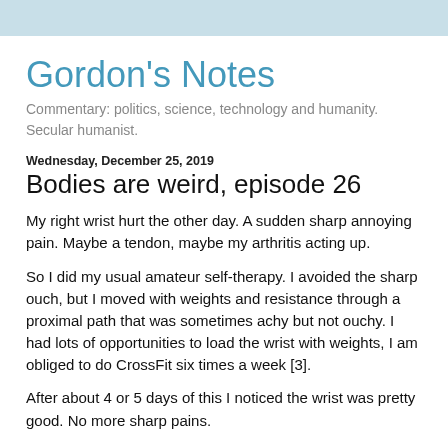Gordon's Notes
Commentary: politics, science, technology and humanity. Secular humanist.
Wednesday, December 25, 2019
Bodies are weird, episode 26
My right wrist hurt the other day. A sudden sharp annoying pain. Maybe a tendon, maybe my arthritis acting up.
So I did my usual amateur self-therapy. I avoided the sharp ouch, but I moved with weights and resistance through a proximal path that was sometimes achy but not ouchy. I had lots of opportunities to load the wrist with weights, I am obliged to do CrossFit six times a week [3].
After about 4 or 5 days of this I noticed the wrist was pretty good. No more sharp pains.